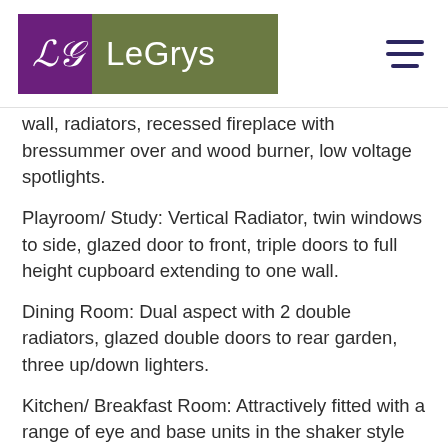[Figure (logo): LeGrys estate agency logo with purple square containing cursive LG monogram and olive-green rectangle with LeGrys text]
wall, radiators, recessed fireplace with bressummer over and wood burner, low voltage spotlights.
Playroom/ Study: Vertical Radiator, twin windows to side, glazed door to front, triple doors to full height cupboard extending to one wall.
Dining Room: Dual aspect with 2 double radiators, glazed double doors to rear garden, three up/down lighters.
Kitchen/ Breakfast Room: Attractively fitted with a range of eye and base units in the shaker style including AEG appliances, granite work top incorporating a half full height i...